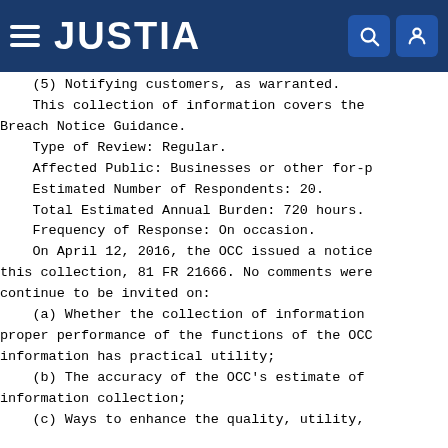JUSTIA
(5) Notifying customers, as warranted.
    This collection of information covers the Breach Notice Guidance.
    Type of Review: Regular.
    Affected Public: Businesses or other for-p
    Estimated Number of Respondents: 20.
    Total Estimated Annual Burden: 720 hours.
    Frequency of Response: On occasion.
    On April 12, 2016, the OCC issued a notice this collection, 81 FR 21666. No comments were continue to be invited on:
    (a) Whether the collection of information proper performance of the functions of the OCC information has practical utility;
    (b) The accuracy of the OCC's estimate of information collection;
    (c) Ways to enhance the quality, utility,